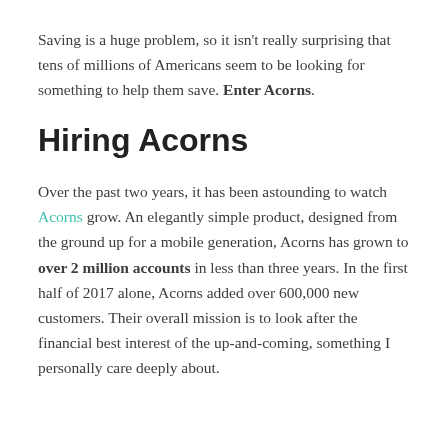Saving is a huge problem, so it isn't really surprising that tens of millions of Americans seem to be looking for something to help them save. Enter Acorns.
Hiring Acorns
Over the past two years, it has been astounding to watch Acorns grow. An elegantly simple product, designed from the ground up for a mobile generation, Acorns has grown to over 2 million accounts in less than three years. In the first half of 2017 alone, Acorns added over 600,000 new customers. Their overall mission is to look after the financial best interest of the up-and-coming, something I personally care deeply about.